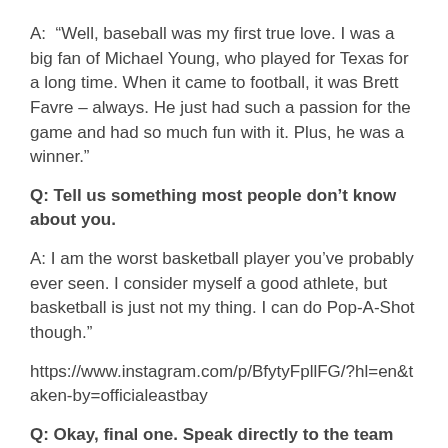A:  “Well, baseball was my first true love. I was a big fan of Michael Young, who played for Texas for a long time. When it came to football, it was Brett Favre – always. He just had such a passion for the game and had so much fun with it. Plus, he was a winner.”
Q: Tell us something most people don’t know about you.
A: I am the worst basketball player you’ve probably ever seen. I consider myself a good athlete, but basketball is just not my thing. I can do Pop-A-Shot though.”
https://www.instagram.com/p/BfytyFpllFG/?hl=en&taken-by=officialeastbay
Q: Okay, final one. Speak directly to the team and fans that draft you – what are they getting when Baker Mayfield walks into that locker room?
A: “First and foremost, you’re getting a winner. You’re